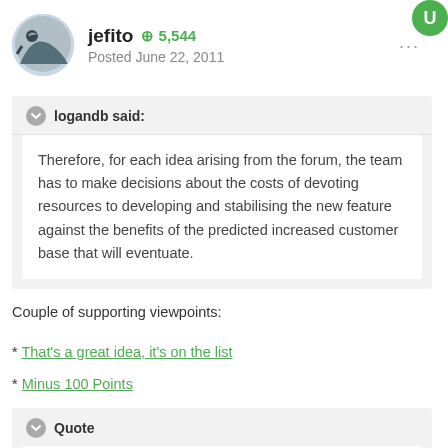jefito  ⊕ 5,544
Posted June 22, 2011
logandb said:
Therefore, for each idea arising from the forum, the team has to make decisions about the costs of devoting resources to developing and stabilising the new feature against the benefits of the predicted increased customer base that will eventuate.
Couple of supporting viewpoints:
* That's a great idea, it's on the list
* Minus 100 Points
Quote
If the product suits, then show your support by purchasing it, otherwise search the market for one that is a better fit for your